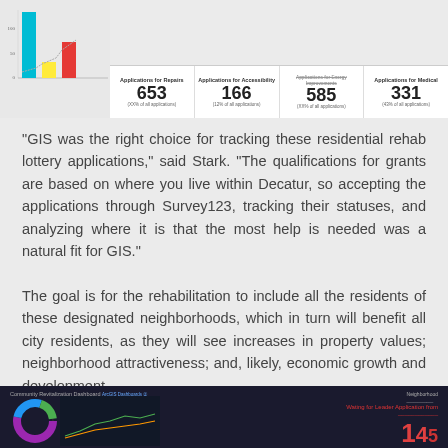[Figure (screenshot): Dashboard screenshot showing a bar chart on the left and a map on the right, with application statistics below: Applications for Repairs 653, Applications for Accessibility 166, Applications for Energy Improvements 585, Applications for Medical 331]
"GIS was the right choice for tracking these residential rehab lottery applications," said Stark. "The qualifications for grants are based on where you live within Decatur, so accepting the applications through Survey123, tracking their statuses, and analyzing where it is that the most help is needed was a natural fit for GIS."
The goal is for the rehabilitation to include all the residents of these designated neighborhoods, which in turn will benefit all city residents, as they will see increases in property values; neighborhood attractiveness; and, likely, economic growth and development.
[Figure (screenshot): Community Revitalization Dashboard screenshot with dark background showing charts and a large red number]